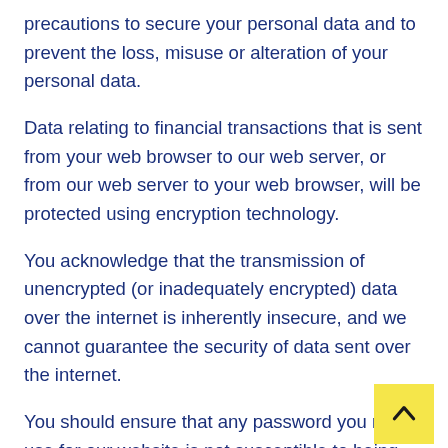precautions to secure your personal data and to prevent the loss, misuse or alteration of your personal data.
Data relating to financial transactions that is sent from your web browser to our web server, or from our web server to your web browser, will be protected using encryption technology.
You acknowledge that the transmission of unencrypted (or inadequately encrypted) data over the internet is inherently insecure, and we cannot guarantee the security of data sent over the internet.
You should ensure that any password you may use for our website is not susceptible to being guessed, whether by a person or a computer program. You are responsible for keeping the password you use for accessing our website confidential and we will not ask